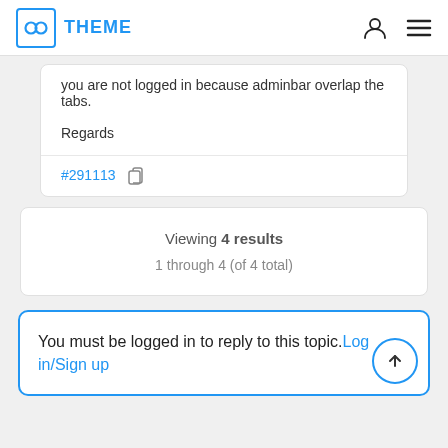THEME
you are not logged in because adminbar overlap the tabs.
Regards
#291113
Viewing 4 results
1 through 4 (of 4 total)
You must be logged in to reply to this topic. Log in/Sign up